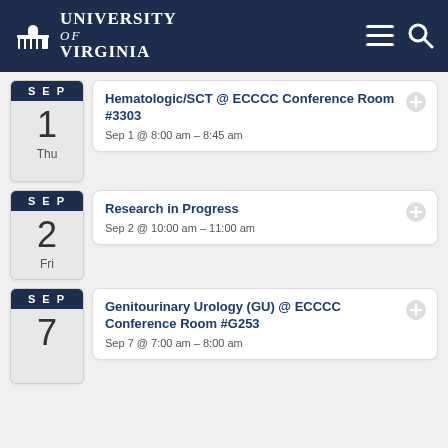University of Virginia
Hematologic/SCT @ ECCCC Conference Room #3303
Sep 1 @ 8:00 am – 8:45 am
Research in Progress
Sep 2 @ 10:00 am – 11:00 am
Genitourinary Urology (GU) @ ECCCC Conference Room #G253
Sep 7 @ 7:00 am – 8:00 am